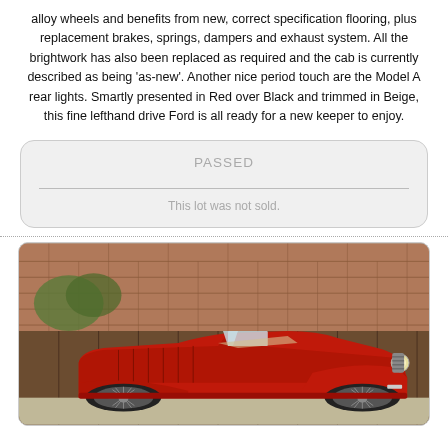alloy wheels and benefits from new, correct specification flooring, plus replacement brakes, springs, dampers and exhaust system. All the brightwork has also been replaced as required and the cab is currently described as being 'as-new'. Another nice period touch are the Model A rear lights. Smartly presented in Red over Black and trimmed in Beige, this fine lefthand drive Ford is all ready for a new keeper to enjoy.
PASSED
This lot was not sold.
[Figure (photo): Photograph of a vintage red classic sports car (open-top roadster) parked in front of a rustic barn with a tiled roof. The car features wire spoke wheels, long hood with louvres, and chrome headlights.]